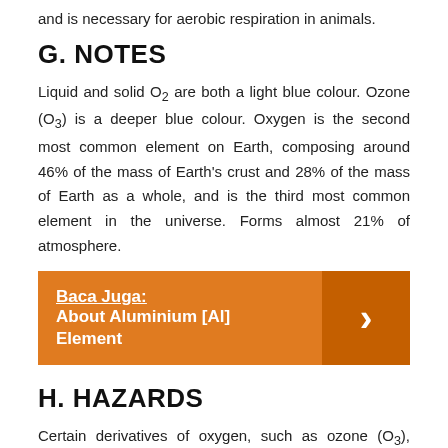and is necessary for aerobic respiration in animals.
G. NOTES
Liquid and solid O2 are both a light blue colour. Ozone (O3) is a deeper blue colour. Oxygen is the second most common element on Earth, composing around 46% of the mass of Earth's crust and 28% of the mass of Earth as a whole, and is the third most common element in the universe. Forms almost 21% of atmosphere.
[Figure (infographic): Orange banner with text 'Baca Juga: About Aluminium [Al] Element' and a right-pointing arrow button on the right side]
H. HAZARDS
Certain derivatives of oxygen, such as ozone (O3), singlet oxygen, hydrogen peroxide (H2O2), hydroxyl radicals and superoxide (O2-), are highly toxic. Highly concentrated sources of oxygen promote rapid combustion and therefore are fire and explosion hazards in the presence of fuels.